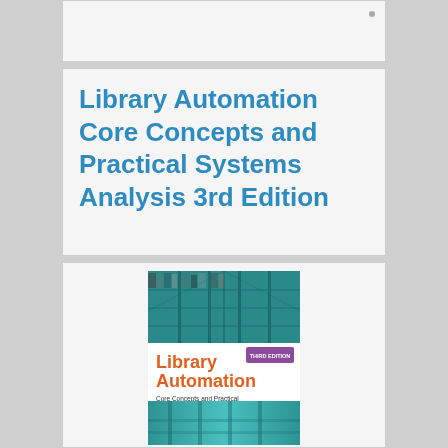Library Automation Core Concepts and Practical Systems Analysis 3rd Edition
[Figure (photo): Book cover of Library Automation: Core Concepts and Practical Systems Analysis, Third Edition. Top half shows teal/blue library shelves. Middle white band shows orange 'Library Automation' title with purple 'THIRD EDITION' badge, subtitle 'Core Concepts and Practical Systems Analysis'. Bottom half shows a blurred teal library interior.]